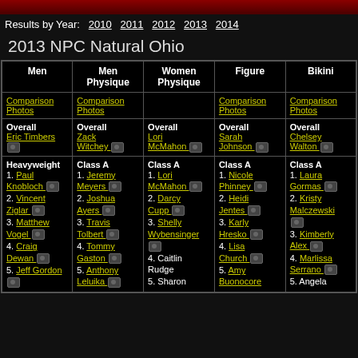Results by Year: 2010 2011 2012 2013 2014
2013 NPC Natural Ohio
| Men | Men Physique | Women Physique | Figure | Bikini |
| --- | --- | --- | --- | --- |
| Comparison Photos | Comparison Photos |  | Comparison Photos | Comparison Photos |
| Overall Eric Timbers [cam] | Overall Zack Witchey [cam] | Overall Lori McMahon [cam] | Overall Sarah Johnson [cam] | Overall Chelsey Walton [cam] |
| Heavyweight
1. Paul Knobloch [cam]
2. Vincent Ziglar [cam]
3. Matthew Vogel [cam]
4. Craig Dewan [cam]
5. Jeff Gordon [cam] | Class A
1. Jeremy Meyers [cam]
2. Joshua Ayers [cam]
3. Travis Tolbert [cam]
4. Tommy Gaston [cam]
5. Anthony Leluika [cam] | Class A
1. Lori McMahon [cam]
2. Darcy Cupp [cam]
3. Shelly Wybensinger [cam]
4. Caitlin Rudge
5. Sharon | Class A
1. Nicole Phinney [cam]
2. Heidi Jentes [cam]
3. Karly Hresko [cam]
4. Lisa Church [cam]
5. Amy Buonocore | Class A
1. Laura Gormas [cam]
2. Kristy Malczewski [cam]
3. Kimberly Alex [cam]
4. Marlissa Serrano [cam]
5. Angela |